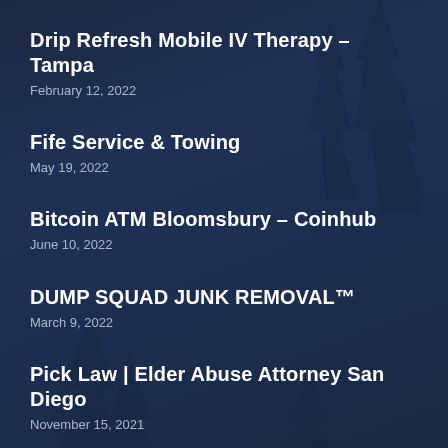Drip Refresh Mobile IV Therapy – Tampa
February 12, 2022
Fife Service & Towing
May 19, 2022
Bitcoin ATM Bloomsbury – Coinhub
June 10, 2022
DUMP SQUAD JUNK REMOVAL™
March 9, 2022
Pick Law | Elder Abuse Attorney San Diego
November 15, 2021
Murphey Law Personal Injury Attorneys